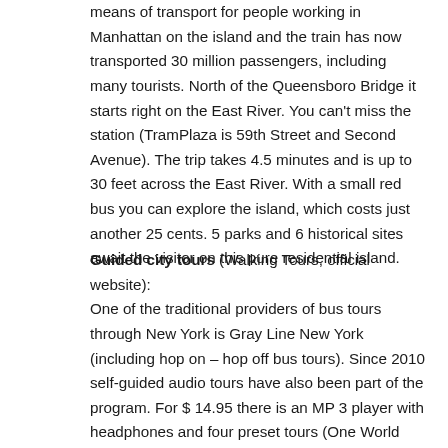means of transport for people working in Manhattan on the island and the train has now transported 30 million passengers, including many tourists. North of the Queensboro Bridge it starts right on the East River. You can't miss the station (TramPlaza is 59th Street and Second Avenue). The trip takes 4.5 minutes and is up to 30 feet across the East River. With a small red bus you can explore the island, which costs just another 25 cents. 5 parks and 6 historical sites await the visitor on this pure residential island.
Guided city tours (Walking Tours, official website): One of the traditional providers of bus tours through New York is Gray Line New York (including hop on – hop off bus tours). Since 2010 self-guided audio tours have also been part of the program. For $ 14.95 there is an MP 3 player with headphones and four preset tours (One World Trade Center / Financial District; Central Park / Columbus Circle / Strawberry Fields; Chinatown / Little Italy and Flatiron District; Madison Square Park). The MP 3 player...